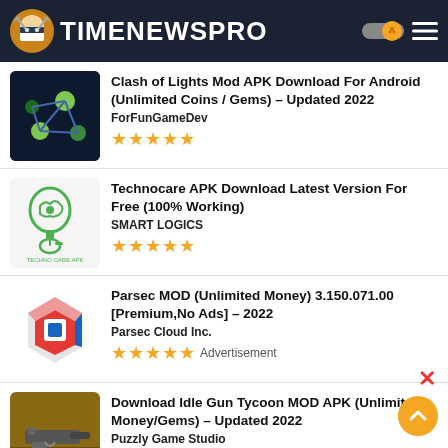TIMENEWSPRO
Clash of Lights Mod APK Download For Android (Unlimited Coins / Gems) – Updated 2022
ForFunGameDev
★★★★★
Technocare APK Download Latest Version For Free (100% Working)
SMART LOGICS
★★★★★
Parsec MOD (Unlimited Money) 3.150.071.00 [Premium,No Ads] – 2022
Parsec Cloud Inc.
★★★★★ Advertisement
Download Idle Gun Tycoon MOD APK (Unlimited Money/Gems) – Updated 2022
Puzzly Game Studio
★★★★★